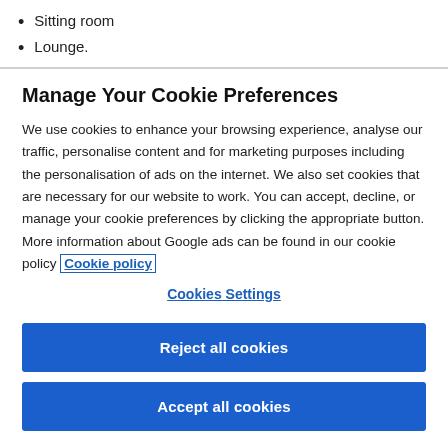Sitting room
Lounge.
Manage Your Cookie Preferences
We use cookies to enhance your browsing experience, analyse our traffic, personalise content and for marketing purposes including the personalisation of ads on the internet. We also set cookies that are necessary for our website to work. You can accept, decline, or manage your cookie preferences by clicking the appropriate button. More information about Google ads can be found in our cookie policy Cookie policy
Cookies Settings
Reject all cookies
Accept all cookies